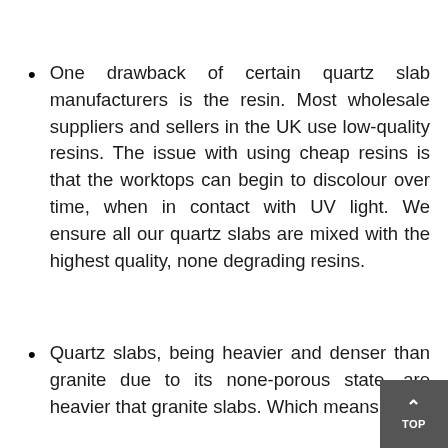One drawback of certain quartz slab manufacturers is the resin. Most wholesale suppliers and sellers in the UK use low-quality resins. The issue with using cheap resins is that the worktops can begin to discolour over time, when in contact with UV light. We ensure all our quartz slabs are mixed with the highest quality, none degrading resins.
Quartz slabs, being heavier and denser than granite due to its none-porous state, are heavier that granite slabs. Which means